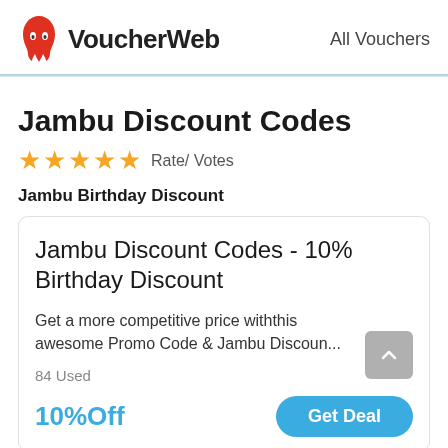VoucherWeb   All Vouchers
Jambu Discount Codes
★★★★★  Rate/ Votes
Jambu Birthday Discount
Jambu Discount Codes - 10% Birthday Discount
Get a more competitive price withthis awesome Promo Code & Jambu Discoun...
84 Used
10%Off
Get Deal